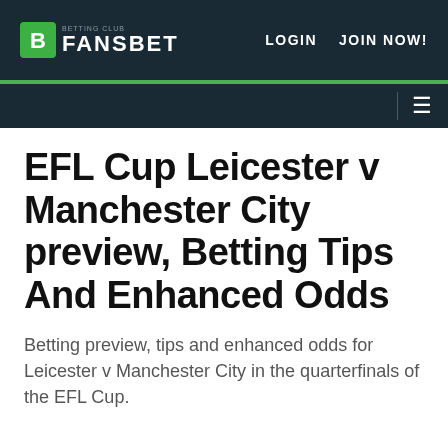FANSBET — LOGIN  JOIN NOW!
EFL Cup Leicester v Manchester City preview, Betting Tips And Enhanced Odds
Betting preview, tips and enhanced odds for Leicester v Manchester City in the quarterfinals of the EFL Cup.